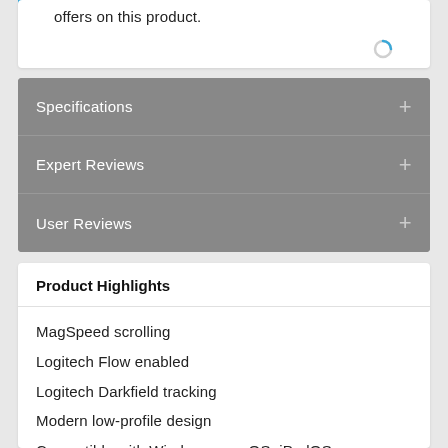offers on this product.
Specifications
Expert Reviews
User Reviews
Product Highlights
MagSpeed scrolling
Logitech Flow enabled
Logitech Darkfield tracking
Modern low-profile design
Compatible with Windows, macOS, iPadOS, ChromeOS, and Linux
Wireless Bluetooth connectivity
Six buttons